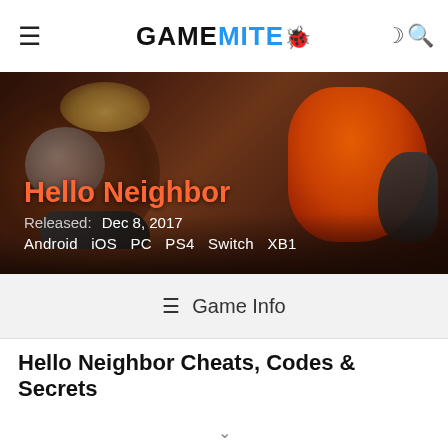GAMEMITE
[Figure (photo): Hello Neighbor game hero banner showing a person in an orange jacket crouching, with dark atmospheric background. Shows game title 'Hello Neighbor' in orange, released Dec 8, 2017, platforms: Android iOS PC PS4 Switch XB1]
Game Info
Hello Neighbor Cheats, Codes & Secrets